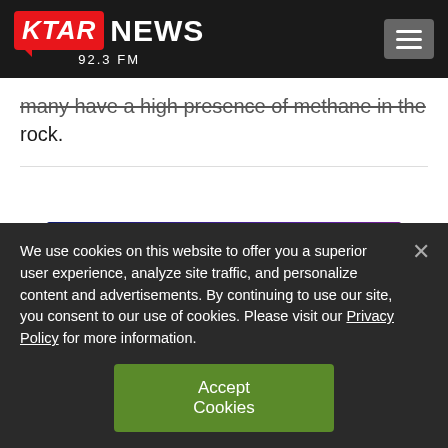KTAR NEWS 92.3 FM
many have a high presence of methane in the rock.
[Figure (illustration): Arizona Super Bowl LVII promotional banner with gradient background from dark blue/navy to red/pink, featuring an eagle logo and bold white text reading 'ARIZONA SUPER BOWL LVII']
We use cookies on this website to offer you a superior user experience, analyze site traffic, and personalize content and advertisements. By continuing to use our site, you consent to our use of cookies. Please visit our Privacy Policy for more information.
Accept Cookies